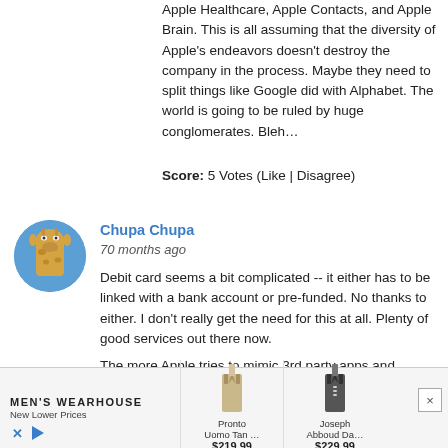Apple Healthcare, Apple Contacts, and Apple Brain. This is all assuming that the diversity of Apple's endeavors doesn't destroy the company in the process. Maybe they need to split things like Google did with Alphabet. The world is going to be ruled by huge conglomerates. Bleh…
Score: 5 Votes (Like | Disagree)
[Figure (photo): Circular avatar photo of a giraffe head against a blue sky background]
Chupa Chupa
70 months ago
Debit card seems a bit complicated -- it either has to be linked with a bank account or pre-funded. No thanks to either. I don't really get the need for this at all. Plenty of good services out there now.
The more Apple tries to mimic 3rd party apps and services built on the iOS ecosystem the more is dissuades devs from creating those apps and services because it becomes a proof of concept and once it's proven Apple pounces with a carbon copy and wipes the entrepreneur out. This isn't new for Apple -- happened all the time with OS X in the Jobs era. But Apple is more dependent on devs now than with OS X which thrives
[Figure (infographic): Advertisement banner for Men's Wearhouse showing two suits: Pronto Uomo Tan at $219.99 and Joseph Abboud Da... at $229.99 with New Lower Prices tagline]